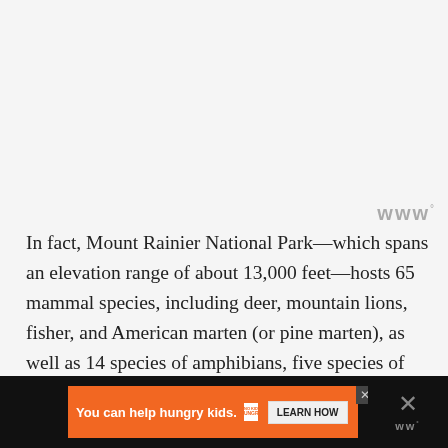[Figure (logo): WW logo with superscript degree symbol in gray, top right area]
In fact, Mount Rainier National Park—which spans an elevation range of about 13,000 feet—hosts 65 mammal species, including deer, mountain lions, fisher, and American marten (or pine marten), as well as 14 species of amphibians, five species of reptiles, 182 species of birds, and 14 species of native fish. While it lacks apex predators like grizzly bears and wolves, the Wonderland does not lack for thrilling wildlife sightings.
[Figure (infographic): Advertisement banner: orange background with text 'You can help hungry kids.' No Kid Hungry logo and 'LEARN HOW' button. Dark background on sides with X close button and WW logo.]